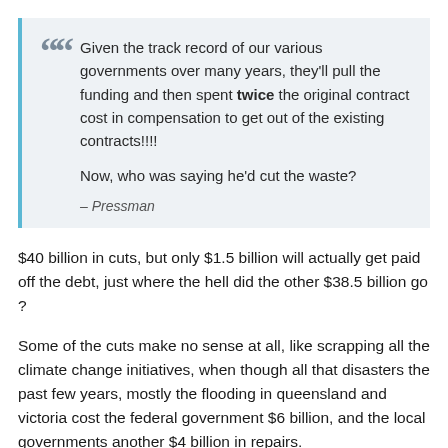Given the track record of our various governments over many years, they'll pull the funding and then spent twice the original contract cost in compensation to get out of the existing contracts!!!!

Now, who was saying he'd cut the waste?

— Pressman
$40 billion in cuts, but only $1.5 billion will actually get paid off the debt, just where the hell did the other $38.5 billion go ?
Some of the cuts make no sense at all, like scrapping all the climate change initiatives, when though all that disasters the past few years, mostly the flooding in queensland and victoria cost the federal government $6 billion, and the local governments another $4 billion in repairs.